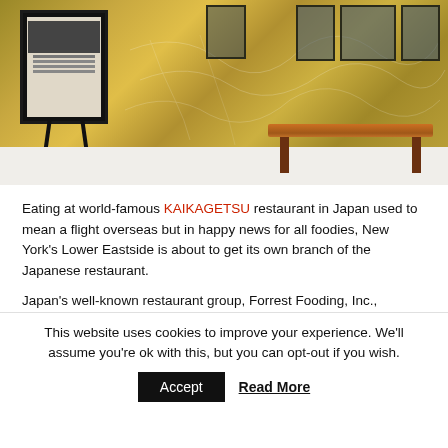[Figure (photo): Exterior of Kaikagetsu restaurant storefront showing ornate golden/brass textured wall, framed menu board on easel stand at left, three windows at upper right, and a wooden bench outside on snowy ground.]
Eating at world-famous KAIKAGETSU restaurant in Japan used to mean a flight overseas but in happy news for all foodies, New York's Lower Eastside is about to get its own branch of the Japanese restaurant.
Japan's well-known restaurant group, Forrest Fooding, Inc.,
This website uses cookies to improve your experience. We'll assume you're ok with this, but you can opt-out if you wish.
Accept   Read More